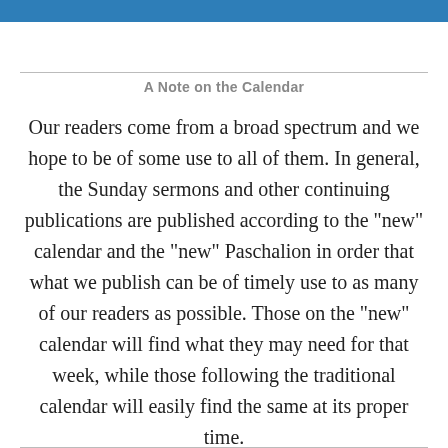A Note on the Calendar
Our readers come from a broad spectrum and we hope to be of some use to all of them. In general, the Sunday sermons and other continuing publications are published according to the "new" calendar and the "new" Paschalion in order that what we publish can be of timely use to as many of our readers as possible. Those on the "new" calendar will find what they may need for that week, while those following the traditional calendar will easily find the same at its proper time.